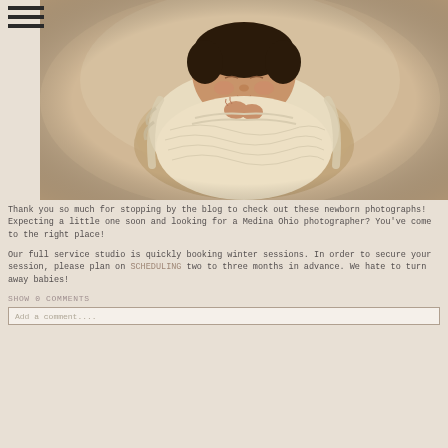[Figure (photo): Newborn baby swaddled in a cream knit wrap, sleeping peacefully, photographed from above in a light beige/tan backdrop]
Thank you so much for stopping by the blog to check out these newborn photographs! Expecting a little one soon and looking for a Medina Ohio photographer? You've come to the right place!
Our full service studio is quickly booking winter sessions. In order to secure your session, please plan on SCHEDULING two to three months in advance. We hate to turn away babies!
SHOW 0 COMMENTS
Add a comment....